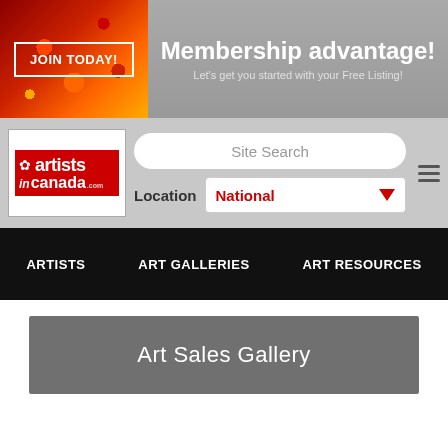[Figure (screenshot): Banner with JOIN TODAY button on left over abstract art background, and 'Membership advantage! Let's get you started with your Free Listing!' text on right gray background]
[Figure (logo): Artists in Canada logo - red box with maple leaf, 'artists' in bold white, 'in canada .com' text]
Site Search
Location
National
ARTISTS
ART GALLERIES
ART RESOURCES
Art Sales Gallery